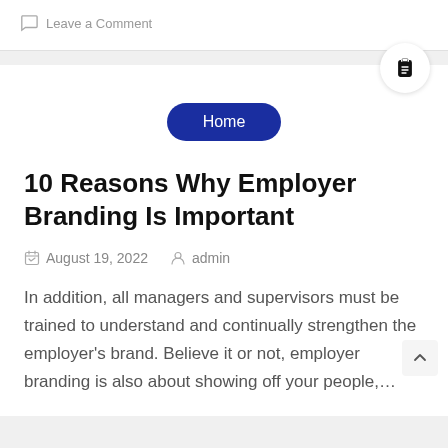Leave a Comment
10 Reasons Why Employer Branding Is Important
August 19, 2022   admin
In addition, all managers and supervisors must be trained to understand and continually strengthen the employer's brand. Believe it or not, employer branding is also about showing off your people,…